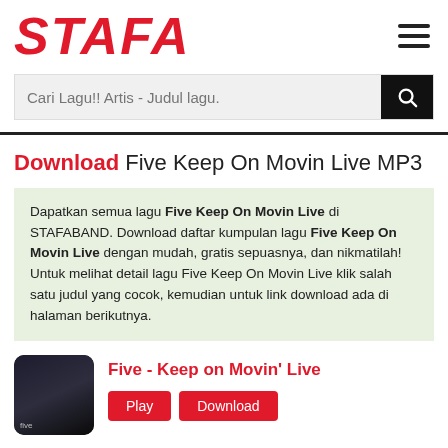[Figure (logo): STAFA logo in red bold italic stylized text]
Cari Lagu!! Artis - Judul lagu.
Download Five Keep On Movin Live MP3
Dapatkan semua lagu Five Keep On Movin Live di STAFABAND. Download daftar kumpulan lagu Five Keep On Movin Live dengan mudah, gratis sepuasnya, dan nikmatilah! Untuk melihat detail lagu Five Keep On Movin Live klik salah satu judul yang cocok, kemudian untuk link download ada di halaman berikutnya.
Five - Keep on Movin' Live
Play Download